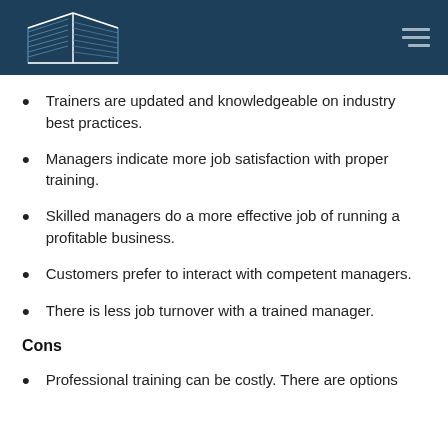[Figure (logo): Building/warehouse logo with diagonal lines on dark navy background header]
Trainers are updated and knowledgeable on industry best practices.
Managers indicate more job satisfaction with proper training.
Skilled managers do a more effective job of running a profitable business.
Customers prefer to interact with competent managers.
There is less job turnover with a trained manager.
Cons
Professional training can be costly. There are options